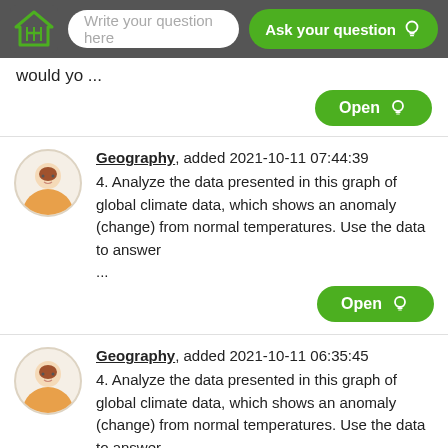Write your question here | Ask your question
would yo ...
Open
Geography, added 2021-10-11 07:44:39
4. Analyze the data presented in this graph of global climate data, which shows an anomaly (change) from normal temperatures. Use the data to answer
...
Open
Geography, added 2021-10-11 06:35:45
4. Analyze the data presented in this graph of global climate data, which shows an anomaly (change) from normal temperatures. Use the data to answer
...